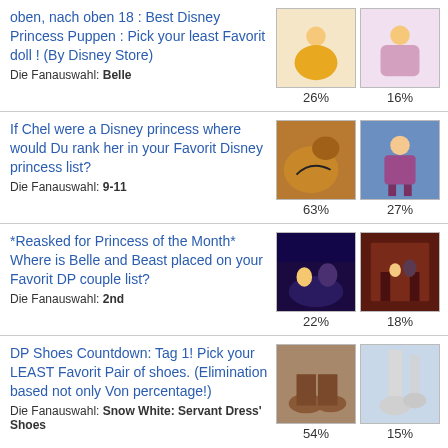oben, nach oben 18 : Best Disney Princess Puppen : Pick your least Favorit doll ! (By Disney Store)
Die Fanauswahl: Belle
26% | 16%
If Chel were a Disney princess where would Du rank her in your Favorit Disney princess list?
Die Fanauswahl: 9-11
63% | 27%
*Reasked for Princess of the Month* Where is Belle and Beast placed on your Favorit DP couple list?
Die Fanauswahl: 2nd
22% | 18%
DP Shoes Countdown: Tag 1! Pick your LEAST Favorit Pair of shoes. (Elimination based not only Von percentage!)
Die Fanauswahl: Snow White: Servant Dress' Shoes
54% | 15%
*Reasked for Princess of the Month*